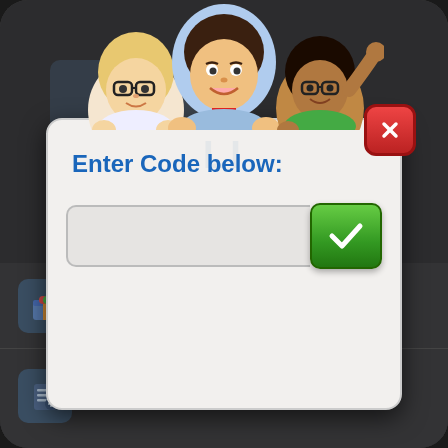[Figure (screenshot): Three animated game characters (two with glasses, one in the center without) peeking over the top of a dialog modal in a mobile game UI (Subway Surfers style).]
[Figure (screenshot): Modal dialog box with title 'Enter Code below:', a light gray text input field, a green checkmark submit button, and a red X close button in the top right corner.]
Enter Code below:
Claim Gifts
Withdraw Consent